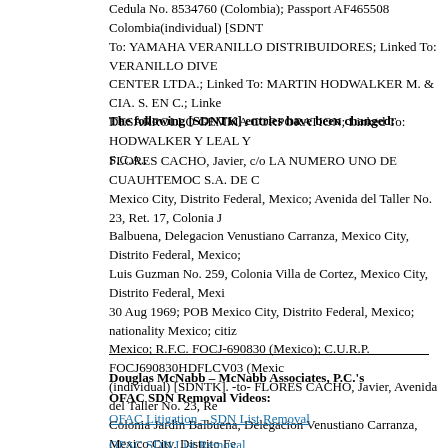Cedula No. 8534760 (Colombia); Passport AF465508 Colombia(individual) [SDNT]; Linked To: YAMAHA VERANILLO DISTRIBUIDORES; Linked To: VERANILLO DIVE CENTER LTDA.; Linked To: MARTIN HODWALKER M. & CIA. S. EN C.; Linked To: DESARROLLO GEMMA CORPORATION; Linked To: HODWALKER Y LEAL Y... S.C.A..
The following [SDNTK] entries have been changed:
FLORES CACHO, Javier, c/o LA NUMERO UNO DE CUAUHTEMOC S.A. DE C... Mexico City, Distrito Federal, Mexico; Avenida del Taller No. 23, Ret. 17, Colonia Jardin Balbuena, Delegacion Venustiano Carranza, Mexico City, Distrito Federal, Mexico; Martin Luis Guzman No. 259, Colonia Villa de Cortez, Mexico City, Distrito Federal, Mexico; DOB 30 Aug 1969; POB Mexico City, Distrito Federal, Mexico; nationality Mexico; citizen Mexico; R.F.C. FOCJ-690830 (Mexico); C.U.R.P. FOCJ690830HDFLCV03 (Mexico)(individual) [SDNTK]. -to- FLORES CACHO, Javier, Avenida del Taller No. 23, Ret. 17, Colonia Jardin Balbuena, Delegacion Venustiano Carranza, Mexico City, Distrito Federal, Mexico; Martin Luis Guzman No. 259, Colonia Villa de Cortez, Mexico City, Distrito Federal, Mexico; DOB 30 Aug 1969; POB Mexico City, Distrito Federal, Mexico; nationality Mexico; citizen Mexico; R.F.C. FOCJ-690830 (Mexico); C.U.R.P. FOCJ690830HDFLCV03 (Mexico)(individual) [SDNTK].
Douglas McNabb – McNabb Associates, P.C.'s OFAC SDN Removal Videos:
OFAC Litigation – SDN List Removal
OFAC SDN List Removal